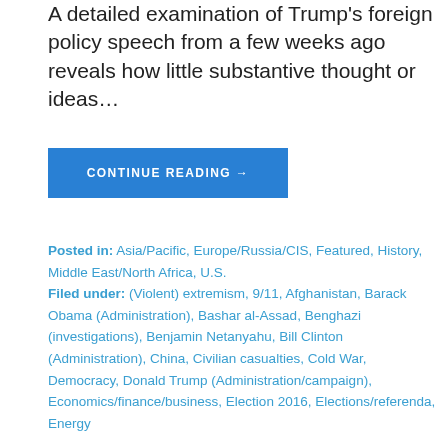A detailed examination of Trump's foreign policy speech from a few weeks ago reveals how little substantive thought or ideas…
CONTINUE READING →
Posted in: Asia/Pacific, Europe/Russia/CIS, Featured, History, Middle East/North Africa, U.S.
Filed under: (Violent) extremism, 9/11, Afghanistan, Barack Obama (Administration), Bashar al-Assad, Benghazi (investigations), Benjamin Netanyahu, Bill Clinton (Administration), China, Civilian casualties, Cold War, Democracy, Donald Trump (Administration/campaign), Economics/finance/business, Election 2016, Elections/referenda, Energy